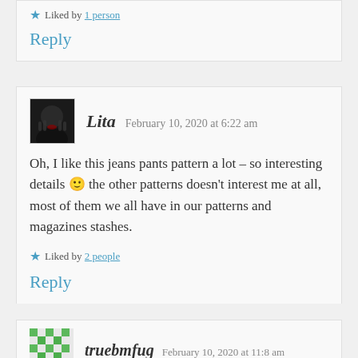Liked by 1 person
Reply
Lita  February 10, 2020 at 6:22 am
Oh, I like this jeans pants pattern a lot – so interesting details 🙂 the other patterns doesn't interest me at all, most of them we all have in our patterns and magazines stashes.
Liked by 2 people
Reply
truebmfug  February 10, 2020 at 11:8 am